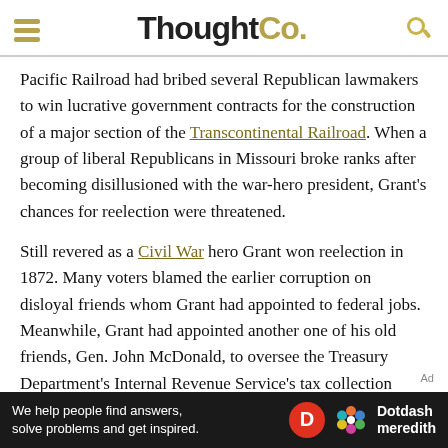ThoughtCo.
Pacific Railroad had bribed several Republican lawmakers to win lucrative government contracts for the construction of a major section of the Transcontinental Railroad. When a group of liberal Republicans in Missouri broke ranks after becoming disillusioned with the war-hero president, Grant’s chances for reelection were threatened.
Still revered as a Civil War hero Grant won reelection in 1872. Many voters blamed the earlier corruption on disloyal friends whom Grant had appointed to federal jobs. Meanwhile, Grant had appointed another one of his old friends, Gen. John McDonald, to oversee the Treasury Department’s Internal Revenue Service’s tax collection operations in St. Louis,
[Figure (other): Dotdash Meredith advertisement banner: 'We help people find answers, solve problems and get inspired.' with Dotdash Meredith logo]